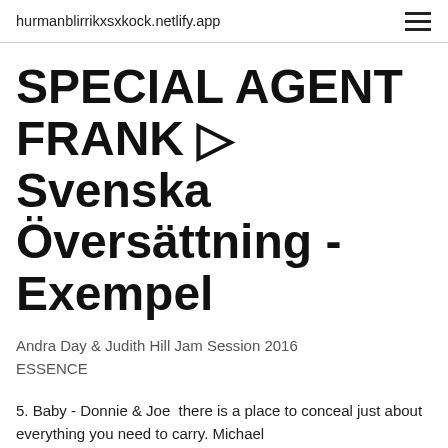hurmanblirrikxsxkock.netlify.app
SPECIAL AGENT FRANK ▷ Svenska Översättning - Exempel
Andra Day & Judith Hill Jam Session 2016 ESSENCE
5. Baby - Donnie & Joe  there is a place to conceal just about everything you need to carry. Michael